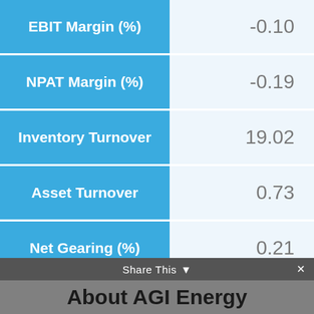| Metric | Value |
| --- | --- |
| EBIT Margin (%) | -0.10 |
| NPAT Margin (%) | -0.19 |
| Inventory Turnover | 19.02 |
| Asset Turnover | 0.73 |
| Net Gearing (%) | 0.21 |
| Net Interest Cover | -9.74 |
| Current Ratio | 1.24 |
Share This  ✕  About AGI Energy